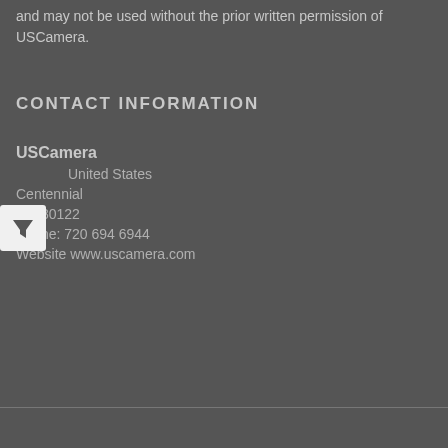and may not be used without the prior written permission of USCamera.
CONTACT INFORMATION
USCamera
United States
Centennial
CO 80122
Phone: 720 694 6944
Website www.uscamera.com